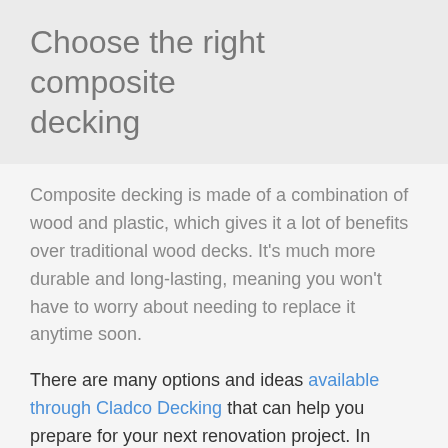Choose the right composite decking
Composite decking is made of a combination of wood and plastic, which gives it a lot of benefits over traditional wood decks. It's much more durable and long-lasting, meaning you won't have to worry about needing to replace it anytime soon.
There are many options and ideas available through Cladco Decking that can help you prepare for your next renovation project. In addition to being sturdy, a composite deck is also resistant to rot, insects, and weather damage, making it a